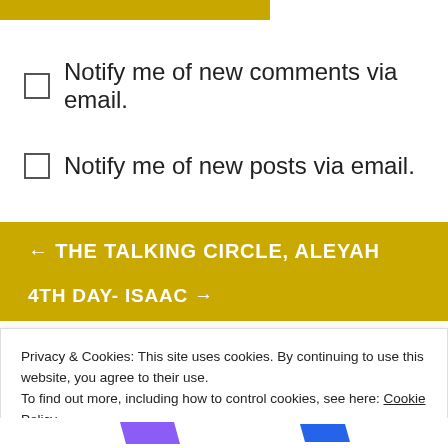[Figure (other): Gold/yellow horizontal bar at top left]
Notify me of new comments via email.
Notify me of new posts via email.
← THE TALKING CIRCLE, ALEYAH
4TH DAY- ISAAC →
Privacy & Cookies: This site uses cookies. By continuing to use this website, you agree to their use.
To find out more, including how to control cookies, see here: Cookie Policy
Close and accept